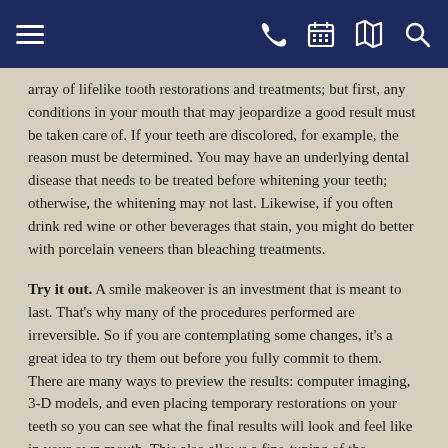Navigation bar with hamburger menu, phone, calendar, map, and search icons
array of lifelike tooth restorations and treatments; but first, any conditions in your mouth that may jeopardize a good result must be taken care of. If your teeth are discolored, for example, the reason must be determined. You may have an underlying dental disease that needs to be treated before whitening your teeth; otherwise, the whitening may not last. Likewise, if you often drink red wine or other beverages that stain, you might do better with porcelain veneers than bleaching treatments.
Try it out. A smile makeover is an investment that is meant to last. That's why many of the procedures performed are irreversible. So if you are contemplating some changes, it's a great idea to try them out before you fully commit to them. There are many ways to preview the results: computer imaging, 3-D models, and even placing temporary restorations on your teeth so you can see what the final results will look and feel like in your own mouth. This also allows a fine-tuning of the makeover plan.
A “trial smile” is a great way to eliminate unknowns in the makeover process. But when it's all done, there's still one thing you may not be prepared for: how great it feels to flash your new smile to the